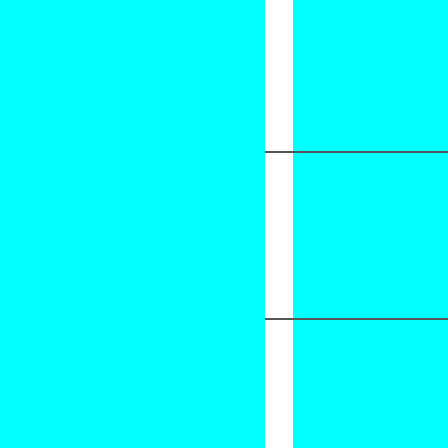| Image | Qty | Description |
| --- | --- | --- |
| NO STOCK PHOTO AVAILABLE | 5 | 1988 Fleer Sticker Baseball Cards 01 Jose DeLeon EX-NM or Better |
| [baseball card photo] | 5 | 1988 Fleer Sticker Baseball Cards 01 Ozzie Guillen EX-NM or Better |
| [baseball card photo] | 5 | 1988 Fleer Sticker Baseball Cards 01 Bobby Thigpen EX-NM or Better |
| [baseball card photo] |  | 1988 Fleer Sticker Baseball Cards 01 (partial) |